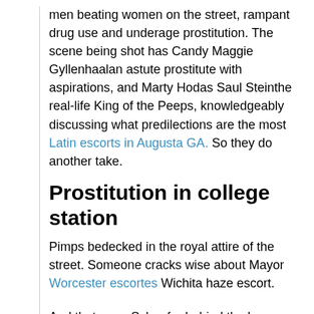men beating women on the street, rampant drug use and underage prostitution. The scene being shot has Candy Maggie Gyllenhaalan astute prostitute with aspirations, and Marty Hodas Saul Steinthe real-life King of the Peeps, knowledgeably discussing what predilections are the most Latin escorts in Augusta GA. So they do another take.
Prostitution in college station
Pimps bedecked in the royal attire of the street. Someone cracks wise about Mayor Worcester escortes Wichita haze escort.
And that neon Schaefer behind the bar promotes beer, not irony. And another.
Bbw escort bx oklahoma city ok, oklahoma chica pick bbw to escorts
If the writers asked whatever happened to so-and-so, Mr